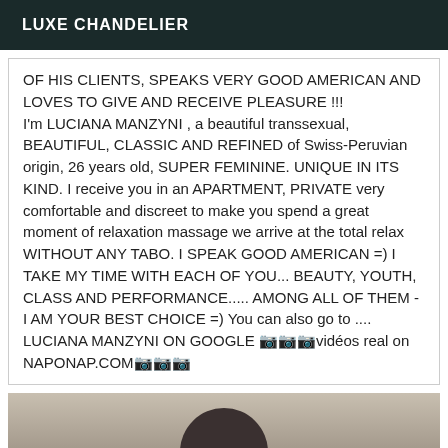LUXE CHANDELIER
OF HIS CLIENTS, SPEAKS VERY GOOD AMERICAN AND LOVES TO GIVE AND RECEIVE PLEASURE !!! I'm LUCIANA MANZYNI , a beautiful transsexual, BEAUTIFUL, CLASSIC AND REFINED of Swiss-Peruvian origin, 26 years old, SUPER FEMININE. UNIQUE IN ITS KIND. I receive you in an APARTMENT, PRIVATE very comfortable and discreet to make you spend a great moment of relaxation massage we arrive at the total relax WITHOUT ANY TABO. I SPEAK GOOD AMERICAN =) I TAKE MY TIME WITH EACH OF YOU... BEAUTY, YOUTH, CLASS AND PERFORMANCE..... AMONG ALL OF THEM - I AM YOUR BEST CHOICE =) You can also go to .... LUCIANA MANZYNI ON GOOGLE 📷📷📷vidéos real on NAPONAP.COM📷📷📷
[Figure (photo): Partial photo of a person, cropped at bottom of page]